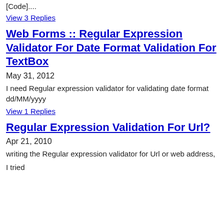[Code]....
View 3 Replies
Web Forms :: Regular Expression Validator For Date Format Validation For TextBox
May 31, 2012
I need Regular expression validator for validating date format dd/MM/yyyy
View 1 Replies
Regular Expression Validation For Url?
Apr 21, 2010
writing the Regular expression validator for Url or web address,
I tried